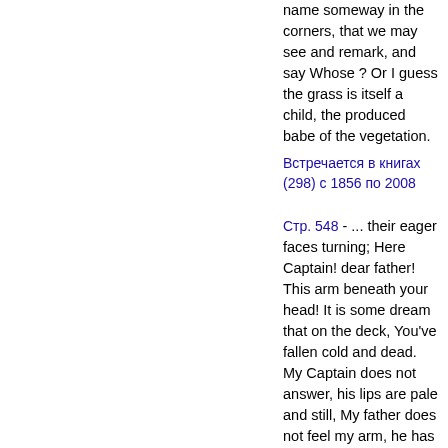name someway in the corners, that we may see and remark, and say Whose ? Or I guess the grass is itself a child, the produced babe of the vegetation.
Встречается в книгах (298) с 1856 по 2008
Стр. 548 - ... their eager faces turning; Here Captain! dear father! This arm beneath your head! It is some dream that on the deck, You've fallen cold and dead. My Captain does not answer, his lips are pale and still, My father does not feel my arm, he has no pulse nor will, The ship is...
Встречается в книгах